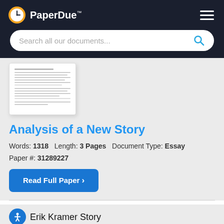[Figure (logo): PaperDue logo with clock icon and TM mark in dark header]
[Figure (screenshot): Search bar with placeholder text 'Search all our documents...' and blue magnifying glass icon]
[Figure (illustration): Thumbnail preview of a document page with text lines]
Analysis of a New Story
Words: 1318   Length: 3 Pages   Document Type: Essay
Paper #: 31289227
Read Full Paper ›
Erik Kramer Story